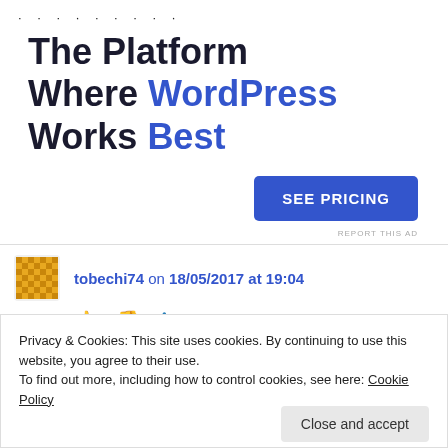[Figure (other): Decorative dots row at the top of the advertisement section]
The Platform Where WordPress Works Best
SEE PRICING
REPORT THIS AD
tobechi74 on 18/05/2017 at 19:04
👍 0 👎 0 ℹ Rate This
Privacy & Cookies: This site uses cookies. By continuing to use this website, you agree to their use.
To find out more, including how to control cookies, see here: Cookie Policy
Close and accept